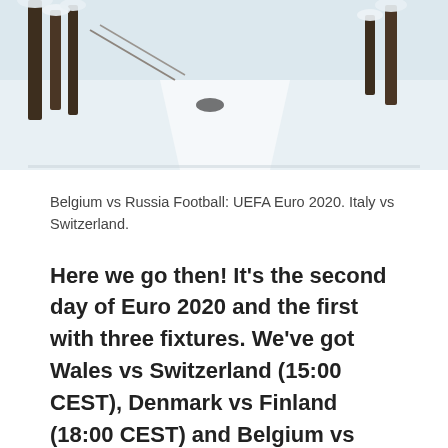[Figure (photo): Winter snowy landscape with snow-covered trees and a road or path through snow, viewed from above at an angle. Snow-covered branches and trees visible on the sides.]
Belgium vs Russia Football: UEFA Euro 2020. Italy vs Switzerland.
Here we go then! It's the second day of Euro 2020 and the first with three fixtures. We've got Wales vs Switzerland (15:00 CEST), Denmark vs Finland (18:00 CEST) and Belgium vs Russia (21:00 CEST
Jun 11, 2021 · Euro 2020 Football Betting and all the